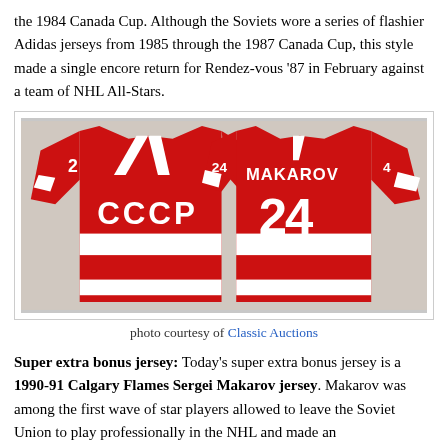the 1984 Canada Cup. Although the Soviets wore a series of flashier Adidas jerseys from 1985 through the 1987 Canada Cup, this style made a single encore return for Rendez-vous '87 in February against a team of NHL All-Stars.
[Figure (photo): Two red CCCP Soviet hockey jerseys shown front and back. The front shows the number 2 on the sleeve and 'CCCP' lettering. The back shows 'MAKAROV' name and number 24. Both jerseys are red with white stripes and white lettering.]
photo courtesy of Classic Auctions
Super extra bonus jersey: Today's super extra bonus jersey is a 1990-91 Calgary Flames Sergei Makarov jersey. Makarov was among the first wave of star players allowed to leave the Soviet Union to play professionally in the NHL and made an